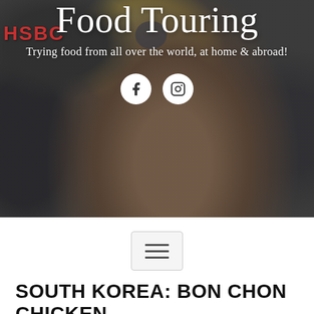[Figure (photo): Hero banner image: person holding a yellow frosted donut with sprinkles up to their face in front of an HSBC storefront, with a dark overlay. White text overlay shows blog title and subtitle.]
Food Touring
Trying food from all over the world, at home & abroad!
SOUTH KOREA: BON CHON CHICKEN